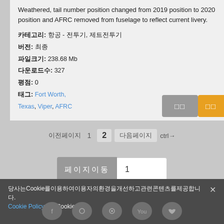Weathered, tail number position changed from 2019 position to 2020 position and AFRC removed from fuselage to reflect current livery.
카테고리: 항공 - 전투기, 제트전투기
버전: 최종
파일크기: 238.68 Mb
다운로드수: 327
평점: 0
태그: Fort Worth, Texas, Viper, AFRC
페이지 이동  1  2  다음페이지  ctrl→
페이지이동  1
당사는Cookie를이용하여이용자의환경을개선하고관련콘텐츠를제공합니다.
Cookie Policy에서Cookie를
[Figure (screenshot): Social media icons: Facebook, Instagram, Steam/other, YouTube, Twitter]